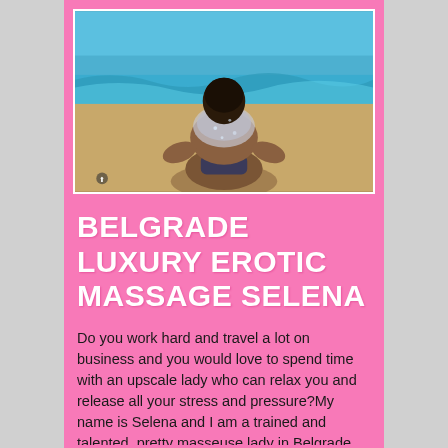[Figure (photo): Person sitting on a beach with back to camera, wearing a bikini bottom and wet top, ocean waves in background]
BELGRADE LUXURY EROTIC MASSAGE SELENA
Do you work hard and travel a lot on business and you would love to spend time with an upscale lady who can relax you and release all your stress and pressure?My name is Selena and I am a trained and talented, pretty masseuse lady in Belgrade who is happy to give you a fun and sensual body rub, tantric massage, body-to-body, or more than